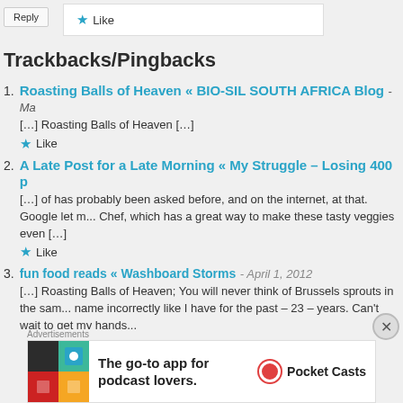Reply | Like
Trackbacks/Pingbacks
1. Roasting Balls of Heaven « BIO-SIL SOUTH AFRICA Blog - Ma
[...] Roasting Balls of Heaven [...]
Like
2. A Late Post for a Late Morning « My Struggle – Losing 400 p
[...] of has probably been asked before, and on the internet, at that. Google let m... Chef, which has a great way to make these tasty veggies even [...]
Like
3. fun food reads « Washboard Storms - April 1, 2012
[...] Roasting Balls of Heaven; You will never think of Brussels sprouts in the sam... name incorrectly like I have for the past – 23 – years. Can't wait to get my hands...
[Figure (infographic): Advertisement banner for Pocket Casts app - 'The go-to app for podcast lovers.']